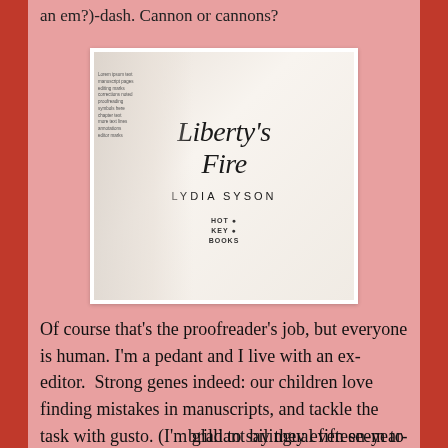an em?)-dash. Cannon or cannons?
[Figure (photo): Photo of an open book showing the title page of 'Liberty's Fire' by Lydia Syson, published by Hot Key Books. The left page shows manuscript text, the right page shows the title in script font with publisher logo at the bottom.]
Of course that's the proofreader's job, but everyone is human. I'm a pedant and I live with an ex-editor.  Strong genes indeed: our children love finding mistakes in manuscripts, and tackle the task with gusto. (I'm glad to say they even seem to be enjoying the story.)  A very brilliant bilingual fifteen-year-old